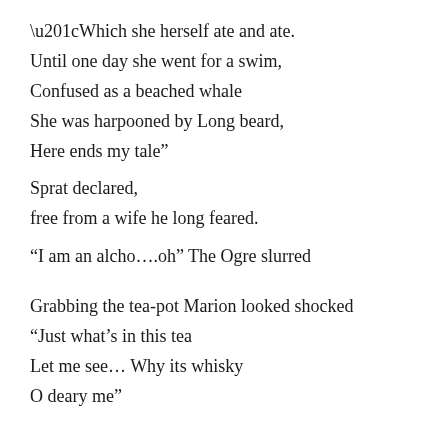“Which she herself ate and ate.
Until one day she went for a swim,
Confused as a beached whale
She was harpooned by Long beard,
Here ends my tale”
Sprat declared,
free from a wife he long feared.
“I am an alcho….oh” The Ogre slurred
Grabbing the tea-pot Marion looked shocked
“Just what’s in this tea
Let me see… Why its whisky
O deary me”